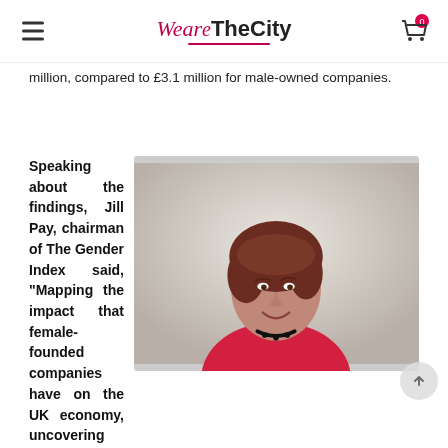WeAreTheCity
million, compared to £3.1 million for male-owned companies.
Speaking about the findings, Jill Pay, chairman of The Gender Index said, “Mapping the impact that female-founded companies have on the UK economy, uncovering their
[Figure (photo): Portrait photo of Jill Pay, a woman with short reddish-brown hair, wearing a red top and black beaded necklace, smiling against a light background.]